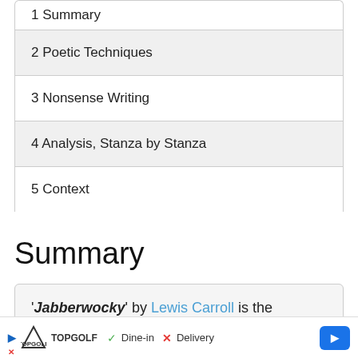1 Summary
2 Poetic Techniques
3 Nonsense Writing
4 Analysis, Stanza by Stanza
5 Context
Summary
'Jabberwocky' by Lewis Carroll is the po...e